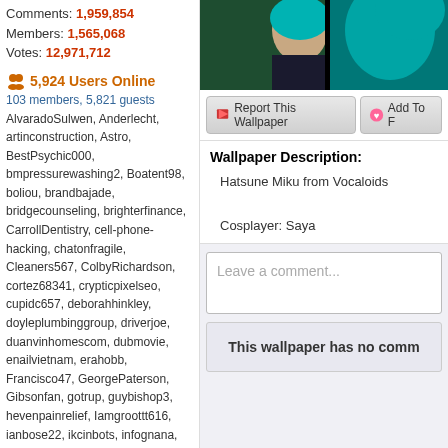Comments: 1,959,854
Members: 1,565,068
Votes: 12,971,712
5,924 Users Online
103 members, 5,821 guests
AlvaradoSulwen, Anderlecht, artinconstruction, Astro, BestPsychic000, bmpressurewashing2, Boatent98, boliou, brandbajade, bridgecounseling, brighterfinance, CarrollDentistry, cell-phone-hacking, chatonfragile, Cleaners567, ColbyRichardson, cortez68341, crypticpixelseo, cupidc657, deborahhinkley, doyleplumbinggroup, driverjoe, duanvinhomescom, dubmovie, enailvietnam, erahobb, Francisco47, GeorgePaterson, Gibsonfan, gotrup, guybishop3, hevenpainrelief, Iamgroottt616, ianbose22, ikcinbots, infognana, Installationvinyl11, jasonguck, JokersStash, josephfirarae, jun8888, KayaXu8, khungnhomkinhvietphon..., kinggohan, Lalina, Lamamake, leonbetappin, lertuiosq, lilla811, lirikmerch, maayash, macthanhvu, marquisbarkley, mayapatil281995, McKinneysTX, mikepaxson, missshweta, mistydaydream1, mod.CG, modzoro, mumtazdental, now888today, phassic777
[Figure (photo): Photo of Hatsune Miku cosplayer with teal/cyan hair against dark green background]
Report This Wallpaper
Add To F
Wallpaper Description:
Hatsune Miku from Vocaloids

Cosplayer: Saya
Leave a comment...
This wallpaper has no comm